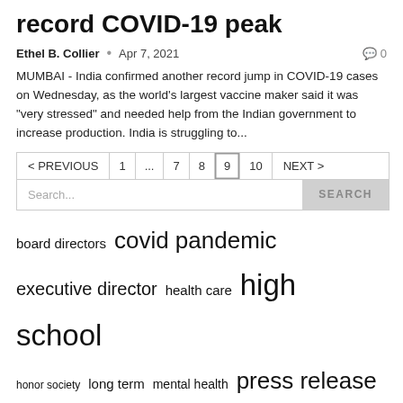record COVID-19 peak
Ethel B. Collier  •  Apr 7, 2021  🗨 0
MUMBAI - India confirmed another record jump in COVID-19 cases on Wednesday, as the world's largest vaccine maker said it was "very stressed" and needed help from the Indian government to increase production. India is struggling to...
< PREVIOUS  1  ...  7  8  9  10  NEXT >
Search...   SEARCH
board directors  covid pandemic  executive director  health care  high school  honor society  long term  mental health  press release  public relations  state university  united states  vice president  visit www